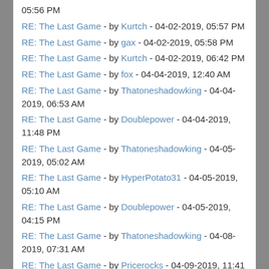05:56 PM
RE: The Last Game - by Kurtch - 04-02-2019, 05:57 PM
RE: The Last Game - by gax - 04-02-2019, 05:58 PM
RE: The Last Game - by Kurtch - 04-02-2019, 06:42 PM
RE: The Last Game - by fox - 04-04-2019, 12:40 AM
RE: The Last Game - by Thatoneshadowking - 04-04-2019, 06:53 AM
RE: The Last Game - by Doublepower - 04-04-2019, 11:48 PM
RE: The Last Game - by Thatoneshadowking - 04-05-2019, 05:02 AM
RE: The Last Game - by HyperPotato31 - 04-05-2019, 05:10 AM
RE: The Last Game - by Doublepower - 04-05-2019, 04:15 PM
RE: The Last Game - by Thatoneshadowking - 04-08-2019, 07:31 AM
RE: The Last Game - by Pricerocks - 04-09-2019, 11:41 AM
RE: The Last Game - by Alex_ - 04-09-2019, 01:26 PM
RE: The Last Game - by Thatoneshadowking - 04-...